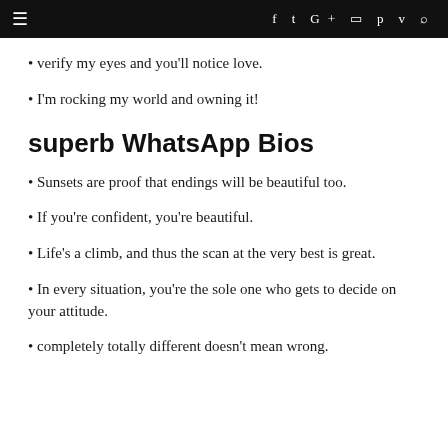≡  f  t  G+  ◻  p  v  🔍
• verify my eyes and you'll notice love.
• I'm rocking my world and owning it!
superb WhatsApp Bios
• Sunsets are proof that endings will be beautiful too.
• If you're confident, you're beautiful.
• Life's a climb, and thus the scan at the very best is great.
• In every situation, you're the sole one who gets to decide on your attitude.
• completely totally different doesn't mean wrong.